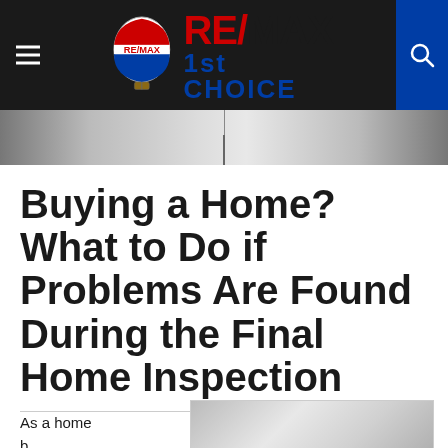RE/MAX 1st CHOICE
[Figure (screenshot): Hero image strip showing a home scene, partially visible]
Buying a Home? What to Do if Problems Are Found During the Final Home Inspection
As a home
[Figure (photo): Partial photo of home inspection related image]